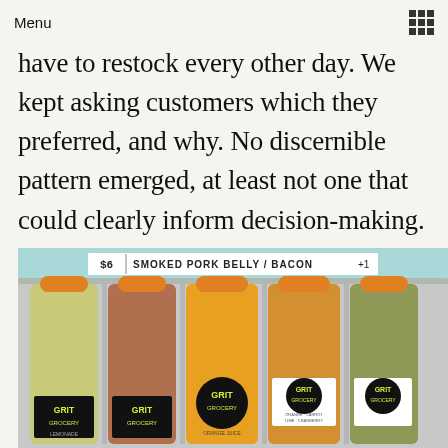Menu
have to restock every other day. We kept asking customers which they preferred, and why. No discernible pattern emerged, at least not one that could clearly inform decision-making.
[Figure (photo): Refrigerator shelf with multiple large plastic bottles of juice with orange caps, all labeled 'Grit Grocery'. Labels visible include Lemonade, Orange Juice, and Orange-Carrot-Lime-Cranberry varieties. A menu tag above reads '$6 | Smoked Pork Belly / Bacon +1'.]